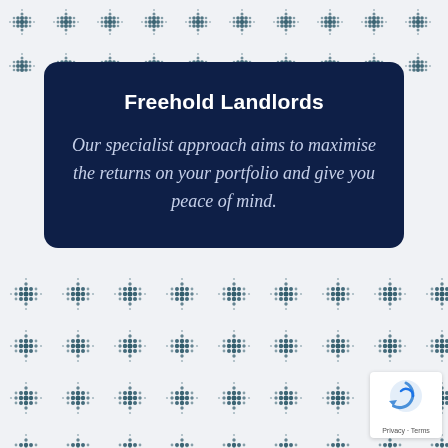[Figure (illustration): Decorative dotted diamond/cross pattern in dark teal/navy on white background, top strip]
Freehold Landlords
Our specialist approach aims to maximise the returns on your portfolio and give you peace of mind.
[Figure (illustration): Decorative dotted diamond/cross pattern in dark teal/navy on white background, bottom section]
[Figure (logo): Google reCAPTCHA badge with circular arrow logo and Privacy - Terms text]